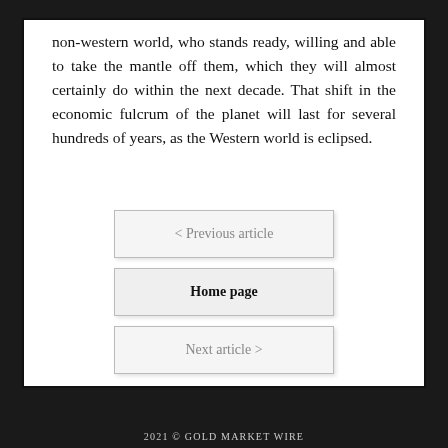non-western world, who stands ready, willing and able to take the mantle off them, which they will almost certainly do within the next decade. That shift in the economic fulcrum of the planet will last for several hundreds of years, as the Western world is eclipsed.
< Previous article
Home page
Next article >
2021 © GOLD MARKET WIRE